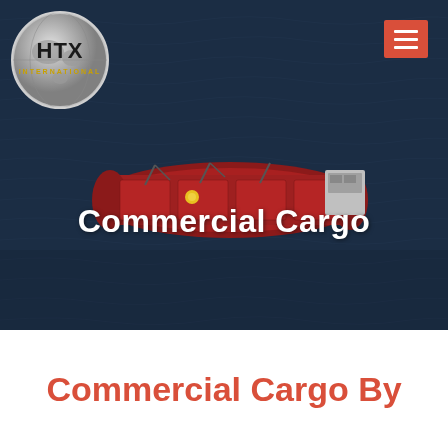[Figure (photo): Aerial view of a large red cargo ship on dark blue ocean water, viewed from above. The ship occupies the center-left of the image. The ocean surface shows rippled dark blue water. HTX International logo is in the top-left corner. A red hamburger menu button is in the top-right corner.]
Commercial Cargo
Commercial Cargo By